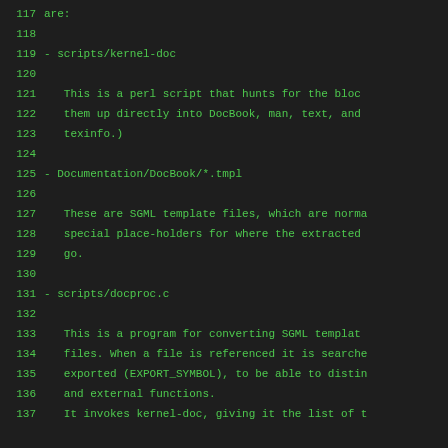117  are:
118
119  - scripts/kernel-doc
120
121     This is a perl script that hunts for the bloc
122     them up directly into DocBook, man, text, and
123     texinfo.)
124
125  - Documentation/DocBook/*.tmpl
126
127     These are SGML template files, which are norma
128     special place-holders for where the extracted
129     go.
130
131  - scripts/docproc.c
132
133     This is a program for converting SGML templat
134     files. When a file is referenced it is searche
135     exported (EXPORT_SYMBOL), to be able to distin
136     and external functions.
137     It invokes kernel-doc, giving it the list of t